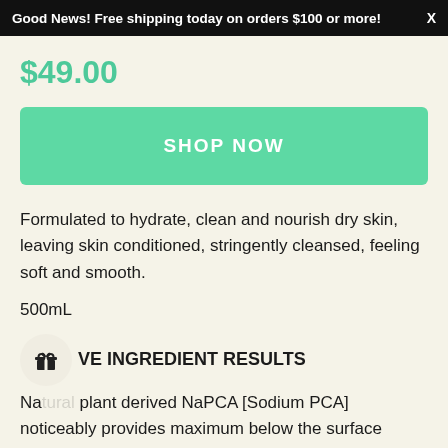Good News! Free shipping today on orders $100 or more! X
$49.00
SHOP NOW
Formulated to hydrate, clean and nourish dry skin, leaving skin conditioned, stringently cleansed, feeling soft and smooth.
500mL
ACTIVE INGREDIENT RESULTS
Natural plant derived NaPCA [Sodium PCA] noticeably provides maximum below the surface hydration binding